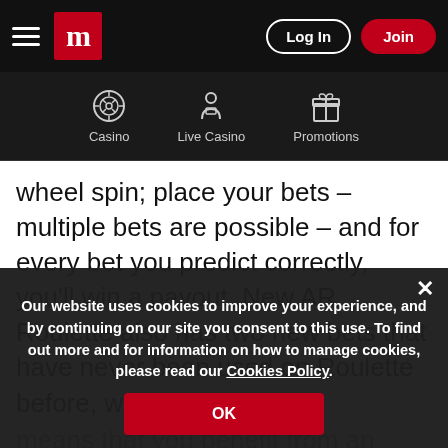Log In | Join
[Figure (infographic): Navigation bar with Casino, Live Casino, and Promotions icons]
wheel spin; place your bets – multiple bets are possible – and for every bet you predict correctly, you'll win a payout. New AR Roulette also has two new bets that have never been used on Roulette before, which
means that you benefit from an exciting new table layout also. Play these games for a... £200 when you deposit with your debit card. Try your money New AR Roulette...
Our website uses cookies to improve your experience, and by continuing on our site you consent to this use. To find out more and for information on how to manage cookies, please read our Cookies Policy.
OK